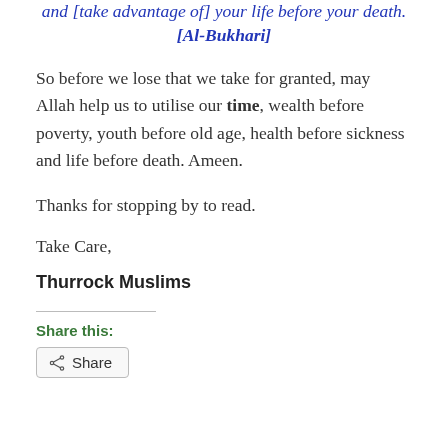and [take advantage of] your life before your death. [Al-Bukhari]
So before we lose that we take for granted, may Allah help us to utilise our time, wealth before poverty, youth before old age, health before sickness and life before death. Ameen.
Thanks for stopping by to read.
Take Care,
Thurrock Muslims
Share this:
Share